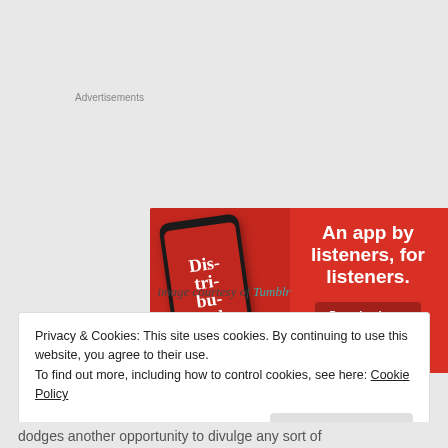Advertisements
[Figure (illustration): Red advertisement banner for a podcast app showing a smartphone with 'Dis-tri-bu-ted' text on screen, with headline 'An app by listeners, for listeners.' and a 'Download now' button]
image courtesy of Tumblr
Privacy & Cookies: This site uses cookies. By continuing to use this website, you agree to their use.
To find out more, including how to control cookies, see here: Cookie Policy
Close and accept
dodges another opportunity to divulge any sort of